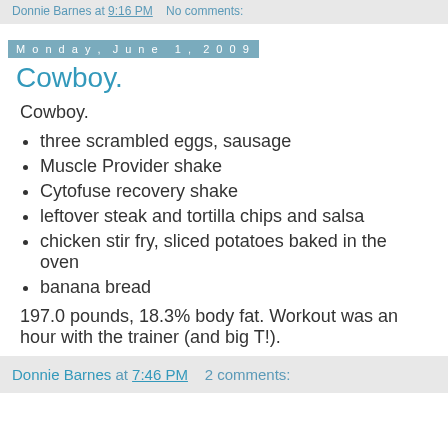Donnie Barnes at 9:16 PM   No comments:
Monday, June 1, 2009
Cowboy.
Cowboy.
three scrambled eggs, sausage
Muscle Provider shake
Cytofuse recovery shake
leftover steak and tortilla chips and salsa
chicken stir fry, sliced potatoes baked in the oven
banana bread
197.0 pounds, 18.3% body fat. Workout was an hour with the trainer (and big T!).
Donnie Barnes at 7:46 PM   2 comments: